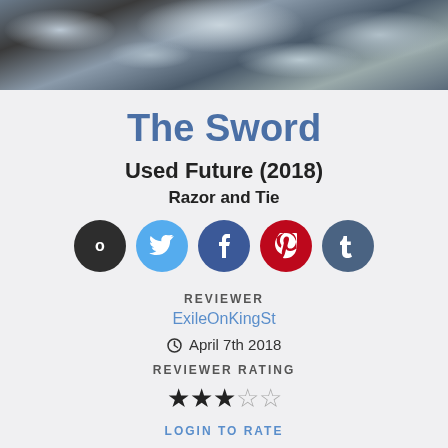[Figure (photo): Dark stormy cloud sky aerial photo banner]
The Sword
Used Future (2018)
Razor and Tie
[Figure (infographic): Social sharing icons: circle with 0, Twitter, Facebook, Pinterest, Tumblr]
REVIEWER
ExileOnKingSt
April 7th 2018
REVIEWER RATING
[Figure (infographic): 3 out of 5 stars rating]
LOGIN TO RATE